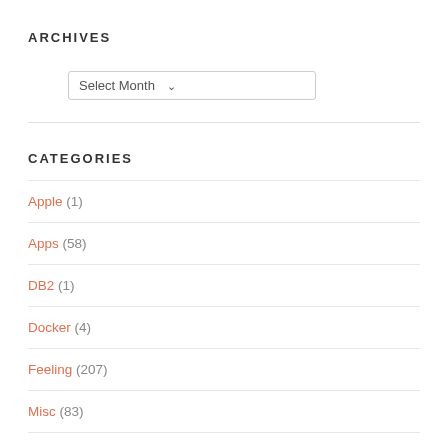ARCHIVES
[Figure (screenshot): A dropdown select box labeled 'Select Month' with a dropdown arrow]
CATEGORIES
Apple (1)
Apps (58)
DB2 (1)
Docker (4)
Feeling (207)
Misc (83)